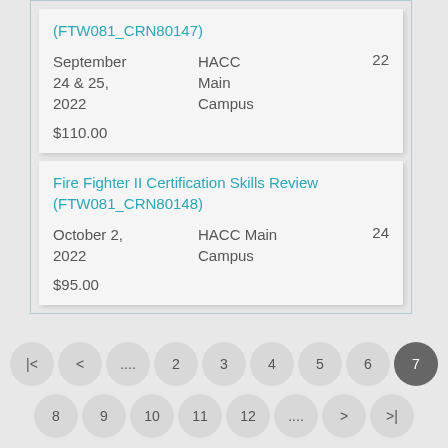(FTW081_CRN80147)
September 24 & 25, 2022   HACC Main Campus   22
$110.00
Fire Fighter II Certification Skills Review (FTW081_CRN80148)
October 2, 2022   HACC Main Campus   24
$95.00
|<  <  ....  2  3  4  5  6  7  8  9  10  11  12  ....  >  >|